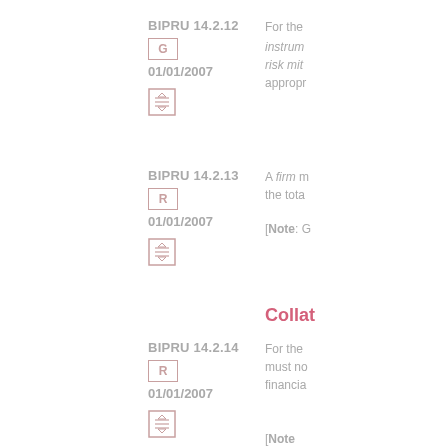BIPRU 14.2.12
G
01/01/2007
For the instruments risk mitigation appropriate
BIPRU 14.2.13
R
01/01/2007
A firm must the total [Note: G
Collat
BIPRU 14.2.14
R
01/01/2007
For the must no financial [Note